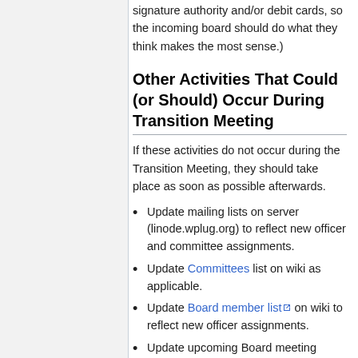signature authority and/or debit cards, so the incoming board should do what they think makes the most sense.)
Other Activities That Could (or Should) Occur During Transition Meeting
If these activities do not occur during the Transition Meeting, they should take place as soon as possible afterwards.
Update mailing lists on server (linode.wplug.org) to reflect new officer and committee assignments.
Update Committees list on wiki as applicable.
Update Board member list on wiki to reflect new officer assignments.
Update upcoming Board meeting schedule, and upcoming GUM